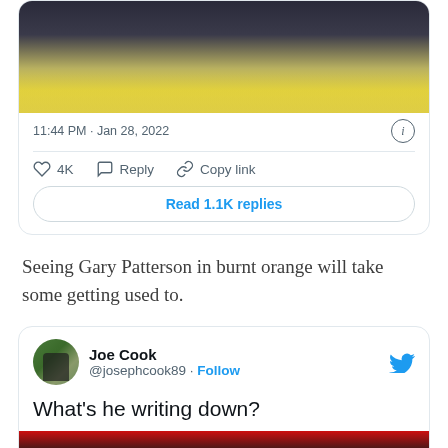[Figure (screenshot): Top portion of a Twitter/X tweet card showing a cropped image of someone in purple/gold with yellow cups, timestamp 11:44 PM · Jan 28, 2022, info icon, heart/reply/copy link actions with 4K likes, and a 'Read 1.1K replies' button]
Seeing Gary Patterson in burnt orange will take some getting used to.
[Figure (screenshot): Twitter/X tweet card from Joe Cook (@josephcook89) with Follow link and Twitter bird logo, tweet text 'What's he writing down?' with a partial image of a person in orange/burnt orange at the bottom]